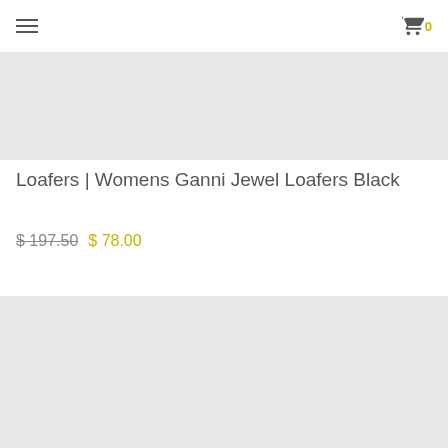Menu | Cart 0
[Figure (photo): Product image placeholder — light gray rectangle, top product image area]
Loafers | Womens Ganni Jewel Loafers Black
$ 197.50  $ 78.00
[Figure (photo): Product image placeholder — light gray rectangle, bottom product image area with Sale! badge]